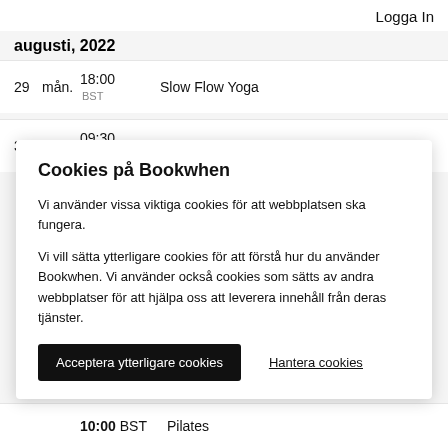Logga In
augusti, 2022
29  mån.  18:00 BST  Slow Flow Yoga
30  tis.  09:30 BST  Beginners Pilates and Hypopressives
Cookies på Bookwhen
Vi använder vissa viktiga cookies för att webbplatsen ska fungera.
Vi vill sätta ytterligare cookies för att förstå hur du använder Bookwhen. Vi använder också cookies som sätts av andra webbplatser för att hjälpa oss att leverera innehåll från deras tjänster.
Acceptera ytterligare cookies
Hantera cookies
10:00 BST  Pilates